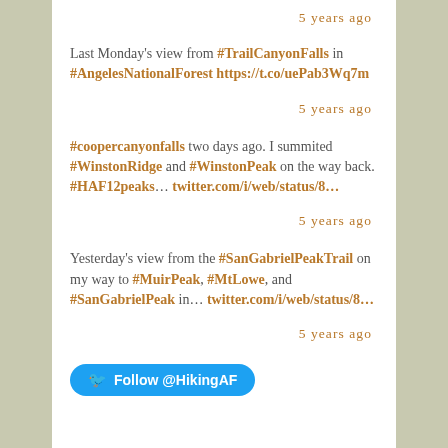5 years ago
Last Monday's view from #TrailCanyonFalls in #AngelesNationalForest https://t.co/uePab3Wq7m
5 years ago
#coopercanyonfalls two days ago. I summited #WinstonRidge and #WinstonPeak on the way back. #HAF12peaks… twitter.com/i/web/status/8…
5 years ago
Yesterday's view from the #SanGabrielPeakTrail on my way to #MuirPeak, #MtLowe, and #SanGabrielPeak in… twitter.com/i/web/status/8…
5 years ago
Follow @HikingAF